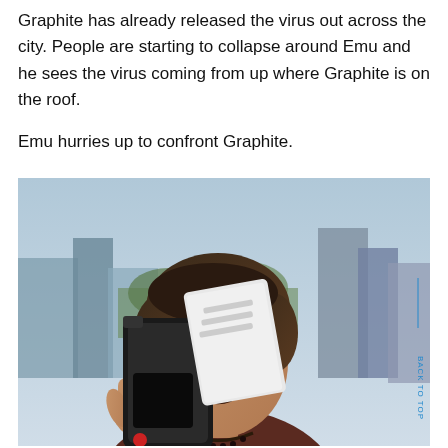Graphite has already released the virus out across the city. People are starting to collapse around Emu and he sees the virus coming from up where Graphite is on the roof.
Emu hurries up to confront Graphite.
[Figure (photo): A young East Asian man with wavy brown hair smiles while holding up a black and white device (resembling a futuristic gun/scanner) near his face. He is wearing a dark reddish-brown top and a bead necklace. The background shows a city skyline with trees and buildings visible beneath an overcast sky. A 'BACK TO TOP' watermark is visible in blue on the right edge of the image.]